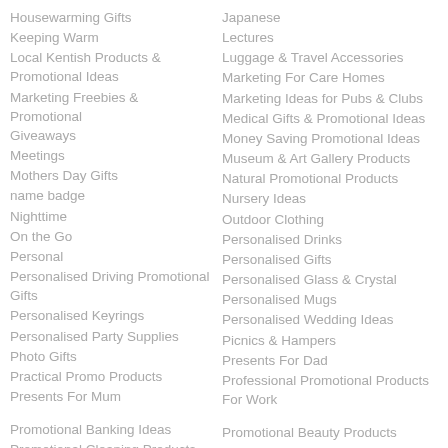Housewarming Gifts
Keeping Warm
Local Kentish Products & Promotional Ideas
Marketing Freebies & Promotional Giveaways
Meetings
Mothers Day Gifts
name badge
Nighttime
On the Go
Personal
Personalised Driving Promotional Gifts
Personalised Keyrings
Personalised Party Supplies
Photo Gifts
Practical Promo Products
Presents For Mum
Promotional Banking Ideas
Promotional Cleaning Products
Promotional Logobugs
Promotional Pens
Promotional Primary & Secondary
Japanese
Lectures
Luggage & Travel Accessories
Marketing For Care Homes
Marketing Ideas for Pubs & Clubs
Medical Gifts & Promotional Ideas
Money Saving Promotional Ideas
Museum & Art Gallery Products
Natural Promotional Products
Nursery Ideas
Outdoor Clothing
Personalised Drinks
Personalised Gifts
Personalised Glass & Crystal
Personalised Mugs
Personalised Wedding Ideas
Picnics & Hampers
Presents For Dad
Professional Promotional Products For Work
Promotional Beauty Products
Promotional Gifts
Promotional Office Supplies
Promotional Pet Products
Promotional Trade Fair & Exhibition